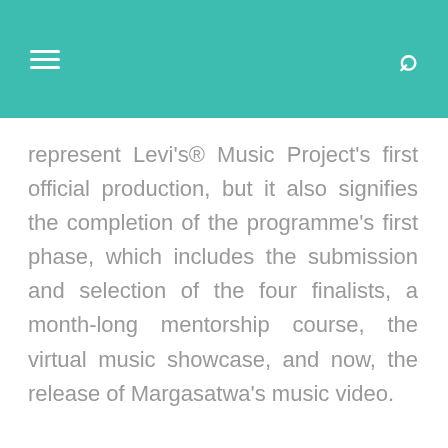represent Levi's® Music Project's first official production, but it also signifies the completion of the programme's first phase, which includes the submission and selection of the four finalists, a month-long mentorship course, the virtual music showcase, and now, the release of Margasatwa's music video.